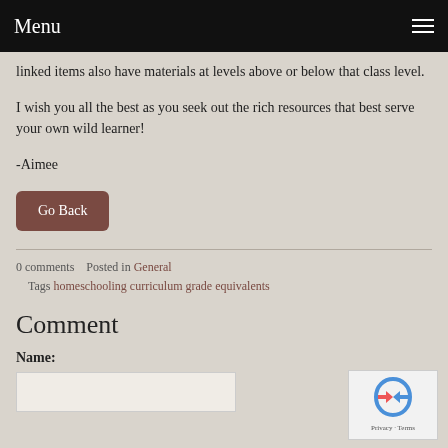Menu
linked items also have materials at levels above or below that class level.
I wish you all the best as you seek out the rich resources that best serve your own wild learner!
-Aimee
Go Back
0 comments   Posted in General
    Tags homeschooling curriculum grade equivalents
Comment
Name: